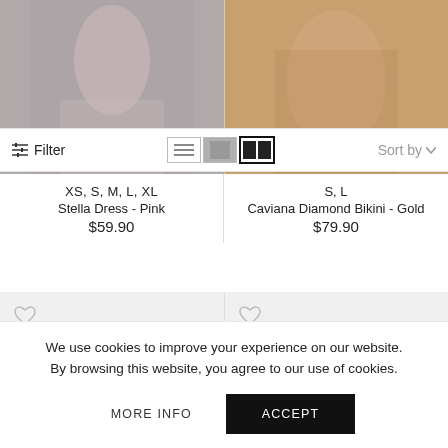[Figure (photo): Two product photos side by side: left shows a pink dress (cropped, gray background), right shows a gold diamond bikini (cropped, skin/tan background)]
Filter
Sort by
XS, S, M, L, XL
Stella Dress - Pink
$59.90
S, L
Caviana Diamond Bikini - Gold
$79.90
[Figure (photo): Two product placeholders (light gray background) with heart/wishlist icons in the top left corners]
We use cookies to improve your experience on our website.
By browsing this website, you agree to our use of cookies.
MORE INFO
ACCEPT